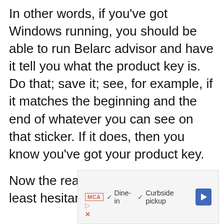In other words, if you've got Windows running, you should be able to run Belarc advisor and have it tell you what the product key is. Do that; save it; see, for example, if it matches the beginning and the end of whatever you can see on that sticker. If it does, then you know you've got your product key.
Now the reason I'm reluctant or at least hesitant with this approach is
[Figure (screenshot): Advertisement banner showing MCA badge, checkmarks for Dine-in and Curbside pickup options, a blue arrow diamond button, and play/close icons at bottom left.]